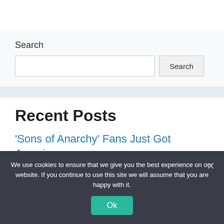Search
Search [input field] Search [button]
Recent Posts
'Sons of Anarchy' Fans Just Got Amazing
We use cookies to ensure that we give you the best experience on our website. If you continue to use this site we will assume that you are happy with it.
Ok